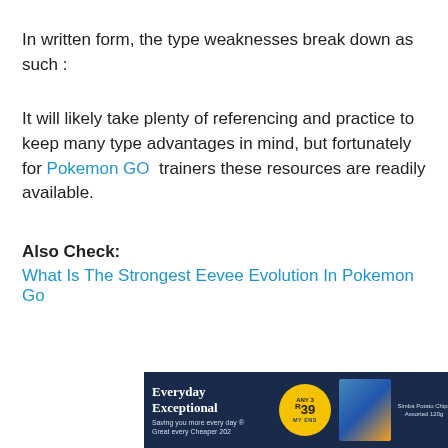In written form, the type weaknesses break down as such :
It will likely take plenty of referencing and practice to keep many type advantages in mind, but fortunately for Pokemon GO trainers these resources are readily available.
Also Check:
What Is The Strongest Eevee Evolution In Pokemon Go
[Figure (photo): Advertisement banner for Pick n Pay showing Everyday Exceptional promotion with Any 3 for R39 deal and Simba Potato Chips Assorted 120g]